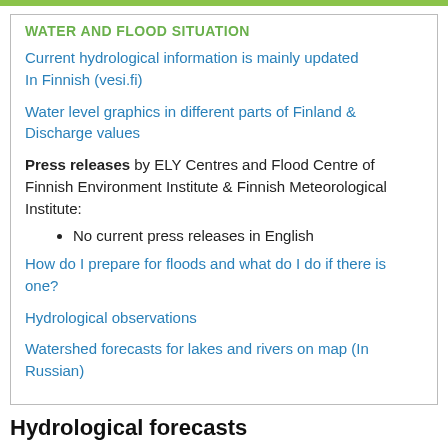WATER AND FLOOD SITUATION
Current hydrological information is mainly updated In Finnish (vesi.fi)
Water level graphics in different parts of Finland & Discharge values
Press releases by ELY Centres and Flood Centre of Finnish Environment Institute & Finnish Meteorological Institute:
No current press releases in English
How do I prepare for floods and what do I do if there is one?
Hydrological observations
Watershed forecasts for lakes and rivers on map (In Russian)
Hydrological forecasts
Hydrological watershed models systems cover the whole of Finland, including transboundary drainage basins. These models provide forecasts of flows and water levels (including flood forecasts) for more